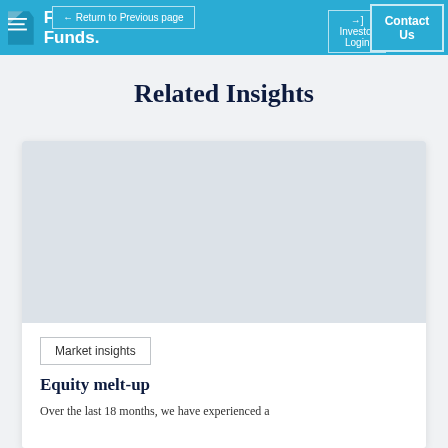Frame Funds.
← Return to Previous page
Investor Login
Contact Us
Related Insights
[Figure (photo): Light grey placeholder image area for an article card]
Market insights
Equity melt-up
Over the last 18 months, we have experienced a